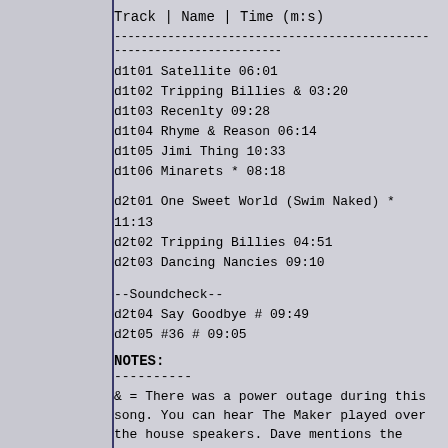| Track | Name | Time (m:s) |
| --- | --- | --- |
| d1t01 | Satellite | 06:01 |
| d1t02 | Tripping Billies & | 03:20 |
| d1t03 | Recenlty | 09:28 |
| d1t04 | Rhyme & Reason | 06:14 |
| d1t05 | Jimi Thing | 10:33 |
| d1t06 | Minarets * | 08:18 |
| d2t01 | One Sweet World (Swim Naked) * | 11:13 |
| d2t02 | Tripping Billies | 04:51 |
| d2t03 | Dancing Nancies | 09:10 |
| d2t04 | Say Goodbye # | 09:49 |
| d2t05 | #36 # | 09:05 |
NOTES:
& = There was a power outage during this song. You can hear The Maker played over the house speakers. Dave mentions the power problem later in the show.
* = There is a tape flip at the end of Minarets. Fade out applied at the end of Minerats and a fade in applied to the beginning of One Sweet World.
# = Soundcheck was included on the master tape. I included it as a filler after the main set.